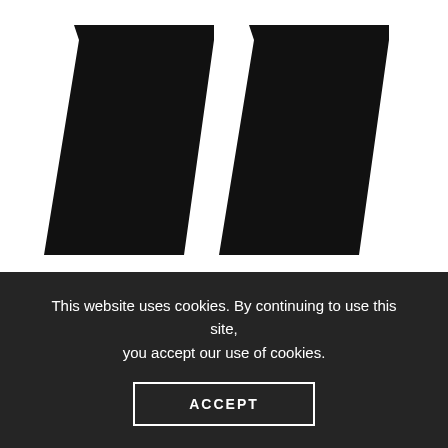[Figure (illustration): Large decorative double quotation mark symbol in black on white background, rendered as two large italic serif comma/tick shapes side by side.]
This website uses cookies. By continuing to use this site, you accept our use of cookies.
ACCEPT